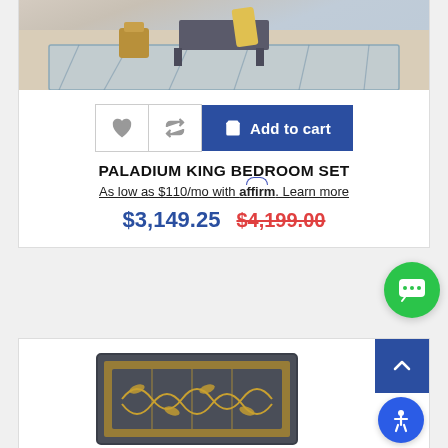[Figure (photo): Top portion of a bedroom product photo showing a rug and furniture in a living space]
[Figure (other): Action buttons row: heart/wishlist icon button, retweet/compare icon button, and blue Add to cart button with shopping bag icon]
PALADIUM KING BEDROOM SET
As low as $110/mo with affirm. Learn more
$3,149.25 $4,199.00
[Figure (other): Green circular chat/messaging bubble button in bottom right]
[Figure (photo): Bottom card showing partial headboard image of bedroom furniture with dark frame and gold geometric pattern, with blue back-to-top button and accessibility button]